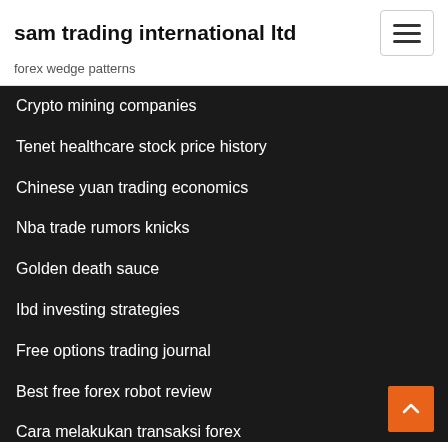sam trading international ltd
forex wedge patterns
Crypto mining companies
Tenet healthcare stock price history
Chinese yuan trading economics
Nba trade rumors knicks
Golden death sauce
Ibd investing strategies
Free options trading journal
Best free forex robot review
Cara melakukan transaksi forex
What hardware you need to mine bitcoin